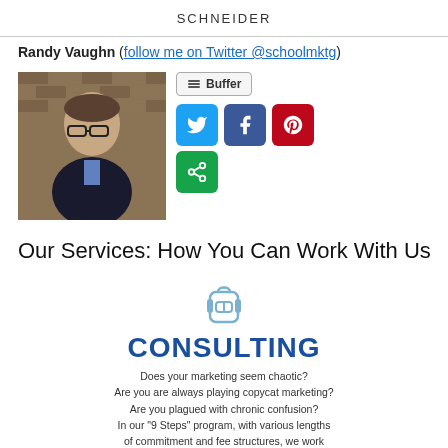SCHNEIDER
Randy Vaughn (follow me on Twitter @schoolmktg)
[Figure (photo): Headshot of Randy Vaughn, a man wearing glasses and a dark suit jacket, standing in front of a brick wall]
[Figure (infographic): Social sharing buttons: Buffer, Twitter, Facebook, Pinterest, and a green share button]
Our Services: How You Can Work With Us
[Figure (infographic): Consulting icon - backpack graphic above bold blue CONSULTING text]
Does your marketing seem chaotic? Are you are always playing copycat marketing? Are you plagued with chronic confusion? In our "9 Steps" program, with various lengths of commitment and fee structures, we work with you to directly, personally, develop the